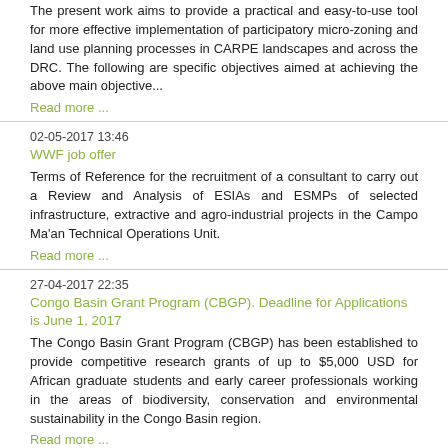The present work aims to provide a practical and easy-to-use tool for more effective implementation of participatory micro-zoning and land use planning processes in CARPE landscapes and across the DRC. The following are specific objectives aimed at achieving the above main objective...
Read more ...
02-05-2017 13:46
WWF job offer
Terms of Reference for the recruitment of a consultant to carry out a Review and Analysis of ESIAs and ESMPs of selected infrastructure, extractive and agro-industrial projects in the Campo Ma'an Technical Operations Unit.
Read more ...
27-04-2017 22:35
Congo Basin Grant Program (CBGP). Deadline for Applications is June 1, 2017
The Congo Basin Grant Program (CBGP) has been established to provide competitive research grants of up to $5,000 USD for African graduate students and early career professionals working in the areas of biodiversity, conservation and environmental sustainability in the Congo Basin region.
Read more ...
27-04-2017 22:25
CMS Notification 2017/007: Call from IPBES to take part in review of regional assessments
The CMS Secretariat would like to draw attention to a call from the Intergovernmental Science-Policy Platform on Biodiversity and Ecosystem Services (IPBES) to take part in the review of the four regional assessments of biodiversity and ecosystem services, and the thematic assessment on land degradation and restoration.